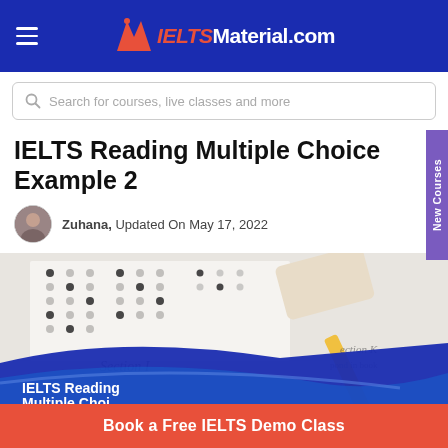IELTSMaterial.com
Search for courses, live classes and more
IELTS Reading Multiple Choice Example 2
Zuhana, Updated On May 17, 2022
[Figure (photo): IELTS multiple choice answer sheet with a pencil and eraser, showing bubbles and section labels. Overlay text reads: IELTS Reading Multiple Choice...]
Book a Free IELTS Demo Class